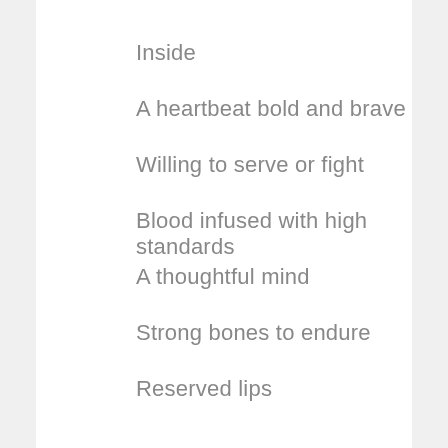Inside
A heartbeat bold and brave
Willing to serve or fight
Blood infused with high standards
A thoughtful mind
Strong bones to endure
Reserved lips